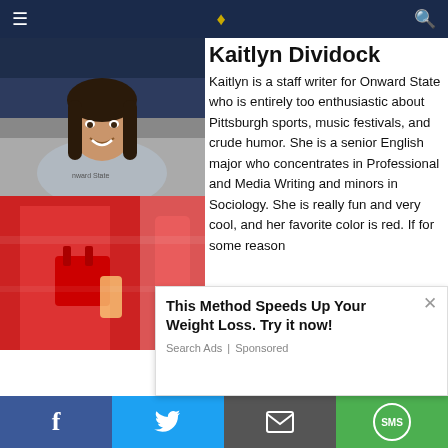Onward State navigation bar
Kaitlyn Dividock
[Figure (photo): Photo of Kaitlyn Dividock, a young woman with dark hair, smiling, wearing a light gray Onward State t-shirt]
Kaitlyn is a staff writer for Onward State who is entirely too enthusiastic about Pittsburgh sports, music festivals, and crude humor. She is a senior English major who concentrates in Professional and Media Writing and minors in Sociology. She is really fun and very cool, and her favorite color is red. If for some reason
[Figure (photo): Advertisement image showing a person in red clothing with a handbag]
This Method Speeds Up Your Weight Loss. Try it now!
Search Ads | Sponsored
Social share bar: Facebook, Twitter, Email, SMS